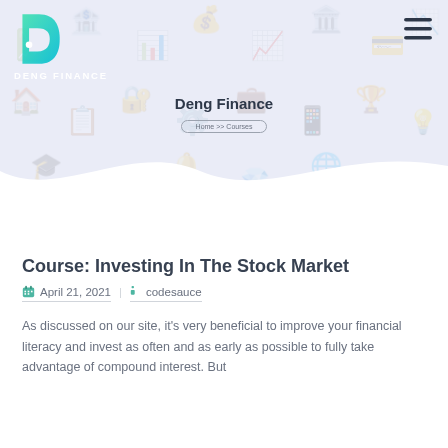[Figure (logo): Deng Finance logo - green/teal gradient 'd' letter icon with white dot, with 'DENG FINANCE' text below in white]
Deng Finance
Home >> Courses
Course: Investing In The Stock Market
April 21, 2021  |  codesauce
As discussed on our site, it's very beneficial to improve your financial literacy and invest as often and as early as possible to fully take advantage of compound interest. But